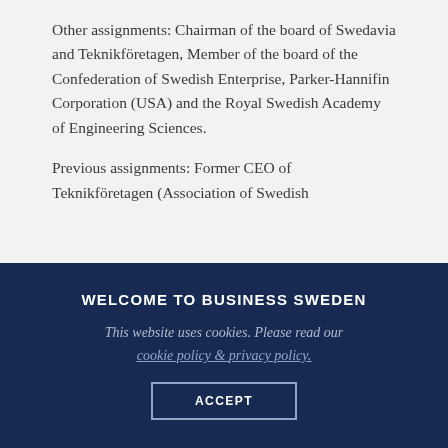Other assignments: Chairman of the board of Swedavia and Teknikföretagen, Member of the board of the Confederation of Swedish Enterprise, Parker-Hannifin Corporation (USA) and the Royal Swedish Academy of Engineering Sciences.
Previous assignments: Former CEO of Teknikföretagen (Association of Swedish
WELCOME TO BUSINESS SWEDEN
This website uses cookies. Please read our cookie policy & privacy policy.
ACCEPT